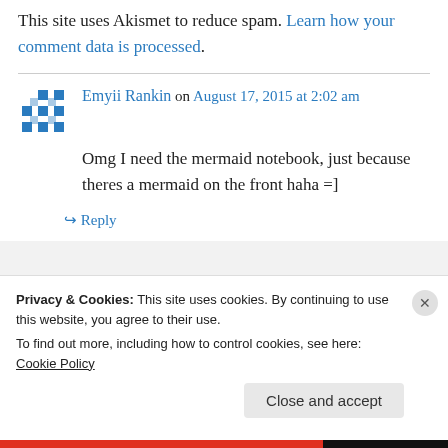This site uses Akismet to reduce spam. Learn how your comment data is processed.
Emyii Rankin on August 17, 2015 at 2:02 am
Omg I need the mermaid notebook, just because theres a mermaid on the front haha =]
↪ Reply
Privacy & Cookies: This site uses cookies. By continuing to use this website, you agree to their use. To find out more, including how to control cookies, see here: Cookie Policy
Close and accept